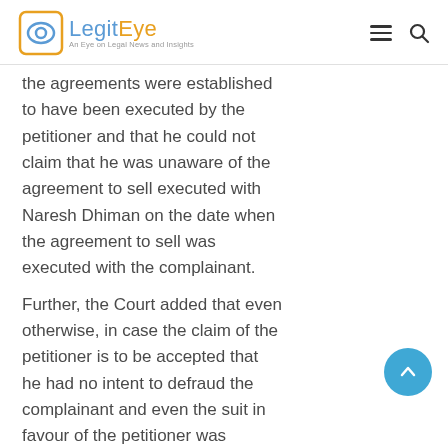LegitEye – An Eye on Legal News and Insights
the agreements were established to have been executed by the petitioner and that he could not claim that he was unaware of the agreement to sell executed with Naresh Dhiman on the date when the agreement to sell was executed with the complainant.
Further, the Court added that even otherwise, in case the claim of the petitioner is to be accepted that he had no intent to defraud the complainant and even the suit in favour of the petitioner was decreed by the Civil Court, there is no reason why the petitioner could not bring on record the execution of any sale deed in